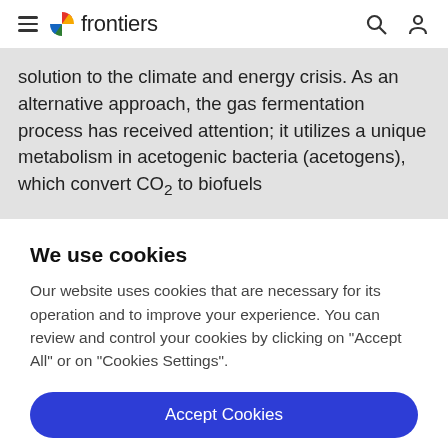frontiers
solution to the climate and energy crisis. As an alternative approach, the gas fermentation process has received attention; it utilizes a unique metabolism in acetogenic bacteria (acetogens), which convert CO₂ to biofuels
We use cookies
Our website uses cookies that are necessary for its operation and to improve your experience. You can review and control your cookies by clicking on "Accept All" or on "Cookies Settings".
Accept Cookies
Cookies Settings